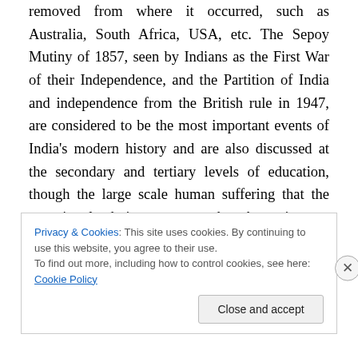removed from where it occurred, such as Australia, South Africa, USA, etc. The Sepoy Mutiny of 1857, seen by Indians as the First War of their Independence, and the Partition of India and independence from the British rule in 1947, are considered to be the most important events of India's modern history and are also discussed at the secondary and tertiary levels of education, though the large scale human suffering that the two involved is never taught about in any significant detail. It is estimated that about 100,000 Indians were killed by the British to suppress the uprising. The violence that immediately
Privacy & Cookies: This site uses cookies. By continuing to use this website, you agree to their use.
To find out more, including how to control cookies, see here: Cookie Policy